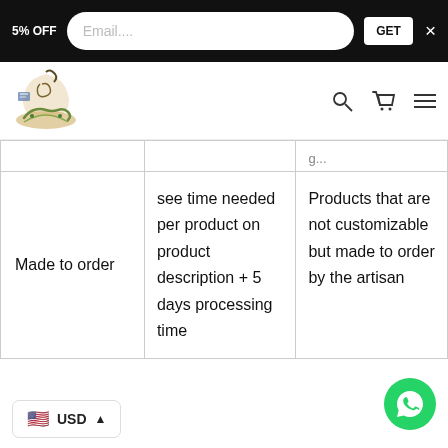5% OFF  Email....  GET  ×
[Figure (logo): Decorative Arabic calligraphy logo with ornamental snake/script design]
|  |  |  |
| --- | --- | --- |
|  |  | g... |
| Made to order | see time needed per product on product description + 5 days processing time | Products that are not customizable but made to order by the artisan |
🇺🇸 USD ▲